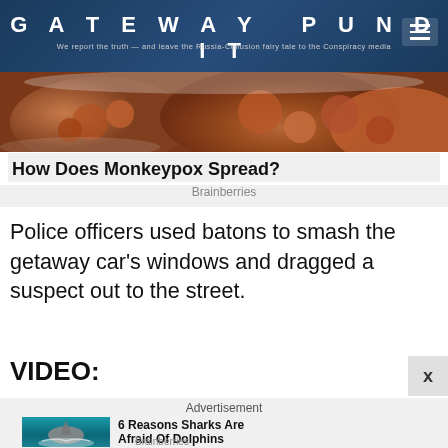GATEWAY PUNDIT — We report the truth — and leave the Russia-Collusion fairy tale to the Conspiracy media
[Figure (photo): Close-up photo of monkeypox skin lesions, reddish brown tones]
How Does Monkeypox Spread?
Brainberries
Police officers used batons to smash the getaway car's windows and dragged a suspect out to the street.
VIDEO:
Advertisement
[Figure (photo): Shark jumping out of ocean water]
6 Reasons Sharks Are Afraid Of Dolphins
Brainberries